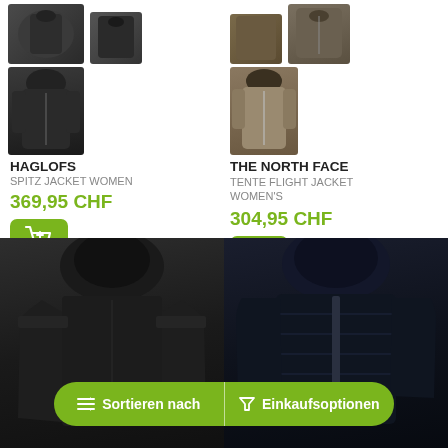[Figure (photo): Haglofs jacket product images - main jacket silhouette and small thumbnail]
HAGLOFS
SPITZ JACKET WOMEN
369,95 CHF
[Figure (illustration): Add to cart button with shopping cart icon]
[Figure (photo): The North Face jacket product images - main jacket and folded thumbnail]
THE NORTH FACE
TENTE FLIGHT JACKET WOMEN'S
304,95 CHF
[Figure (illustration): Add to cart button with shopping cart icon]
[Figure (photo): Large black hardshell jacket on model, left side]
[Figure (photo): Large dark navy puffer jacket on model, right side]
Sortieren nach
Einkaufsoptionen